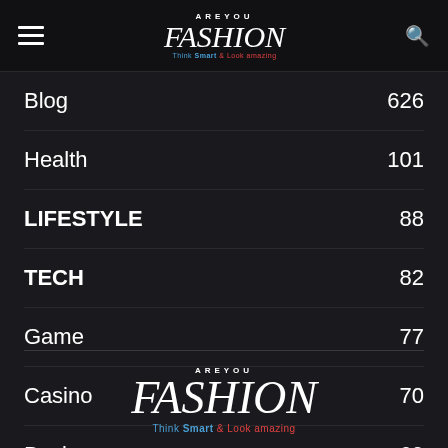AREYOU FASHION — Think Smart & Look amazing
Blog 626
Health 101
LIFESTYLE 88
TECH 82
Game 77
Casino 70
Business 69
AREYOU FASHION — Think Smart & Look amazing